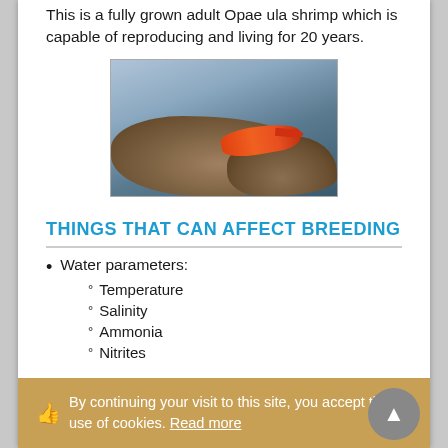This is a fully grown adult Opae ula shrimp which is capable of reproducing and living for 20 years.
[Figure (photo): A red Opae ula shrimp sitting on rocks with a blurry blue-gray aquatic background]
THINGS THAT CAN AFFECT BREEDING
Water parameters:
° Temperature
° Salinity
° Ammonia
° Nitrites
By continuing your visit to this site, you accept the use of cookies. Read more
Diet - poor or lack of